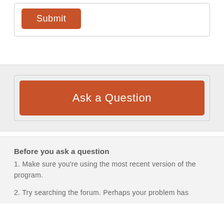[Figure (screenshot): A Submit button rendered in orange/brown color inside a bordered form box at the top of the page.]
[Figure (screenshot): An 'Ask a Question' button in orange/brown color inside a light gray section with a dashed/outlined container.]
Before you ask a question
1. Make sure you're using the most recent version of the program.
2. Try searching the forum. Perhaps your problem has